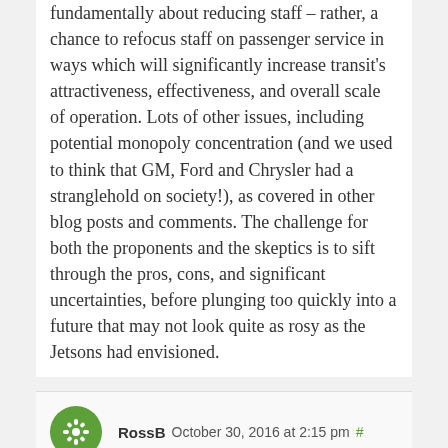fundamentally about reducing staff – rather, a chance to refocus staff on passenger service in ways which will significantly increase transit's attractiveness, effectiveness, and overall scale of operation. Lots of other issues, including potential monopoly concentration (and we used to think that GM, Ford and Chrysler had a stranglehold on society!), as covered in other blog posts and comments. The challenge for both the proponents and the skeptics is to sift through the pros, cons, and significant uncertainties, before plunging too quickly into a future that may not look quite as rosy as the Jetsons had envisioned.
RossB October 30, 2016 at 2:15 pm #